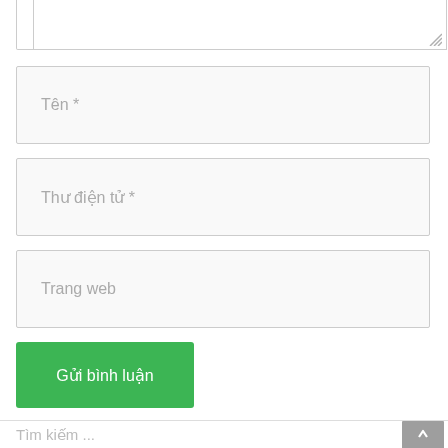[Figure (screenshot): Textarea input box (partially visible, top of page)]
Tên *
Thư điện tử *
Trang web
Gửi bình luận
Tìm kiếm ...